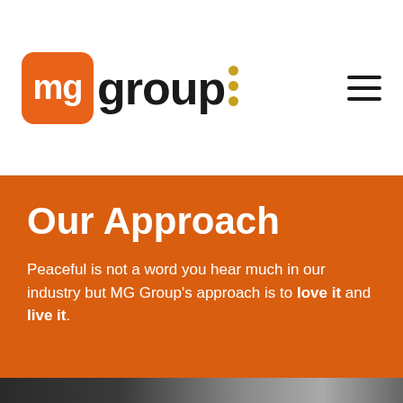[Figure (logo): MG Group logo: orange rounded square with white 'mg' text, followed by 'group' in bold black, with three gold/yellow dots in a vertical colon-like arrangement]
Our Approach
Peaceful is not a word you hear much in our industry but MG Group's approach is to love it and live it.
[Figure (photo): Bottom portion of a dark office/workspace photograph partially visible]